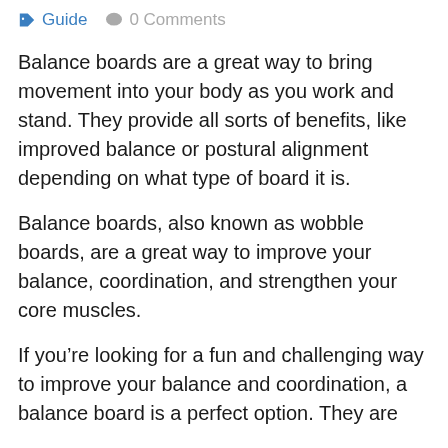Guide   0 Comments
Balance boards are a great way to bring movement into your body as you work and stand. They provide all sorts of benefits, like improved balance or postural alignment depending on what type of board it is.
Balance boards, also known as wobble boards, are a great way to improve your balance, coordination, and strengthen your core muscles.
If you're looking for a fun and challenging way to improve your balance and coordination, a balance board is a perfect option. They are